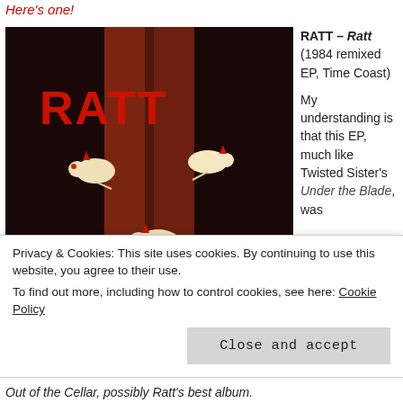Here's one!
[Figure (photo): RATT self-titled EP album cover showing legs in red high heels with rats, red RATT logo text on dark background]
RATT – Ratt
(1984 remixed EP, Time Coast)

My understanding is that this EP, much like Twisted Sister's Under the Blade, was
Privacy & Cookies: This site uses cookies. By continuing to use this website, you agree to their use.
To find out more, including how to control cookies, see here: Cookie Policy
Close and accept
Out of the Cellar, possibly Ratt's best album.